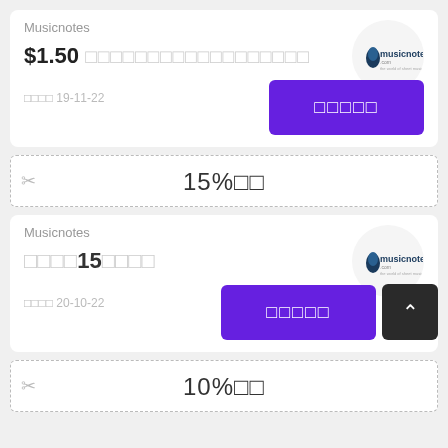Musicnotes
$1.50 □□□□□□□□□□□□□□□□□
□□□□ 19-11-22
[Figure (logo): Musicnotes logo in circle]
□□□□□
15%□□
Musicnotes
□□□□15□□□□
□□□□ 20-10-22
[Figure (logo): Musicnotes logo in circle]
□□□□□
10%□□